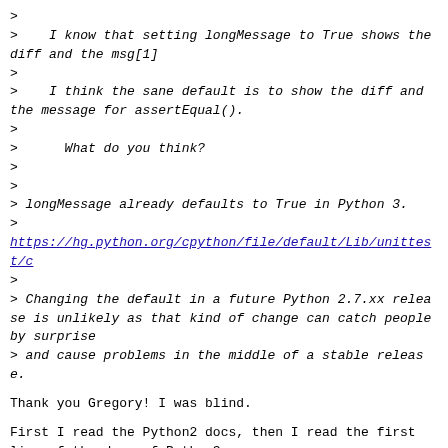>
>    I know that setting longMessage to True shows the diff and the msg[1]
>
>    I think the sane default is to show the diff and the message for assertEqual().
>
>      What do you think?
>
>
> longMessage already defaults to True in Python 3.
>
https://hg.python.org/cpython/file/default/Lib/unittest/c
>
> Changing the default in a future Python 2.7.xx release is unlikely as that kind of change can catch people by surprise
> and cause problems in the middle of a stable release.
Thank you Gregory! I was blind.
First I read the Python2 docs, then I read the first line of the docs of Python3:
If set to True then any explicit failure .....
https://docs.python.org/3/library/unittest.html#unittest
Yes, Python3 has the better default. Maybe the docs